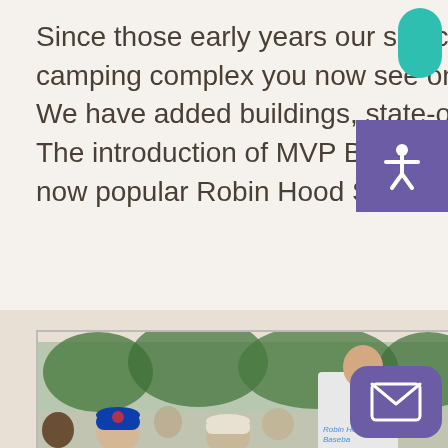Since those early years our site continued to grow into the wonderful camping complex you now see on Reesor Road (formerly the 10th Line). We have added buildings, state-of-the-art activities and additional pools. The introduction of MVP Baseball Academy in the late 1980s lead to the now popular Robin Hood Sports Academy.
[Figure (photo): Outdoor photo of a man wearing a 'Robin Hood Baseball' jersey leaning toward children wearing baseball caps including a Toronto Blue Jays cap, with trees in the background.]